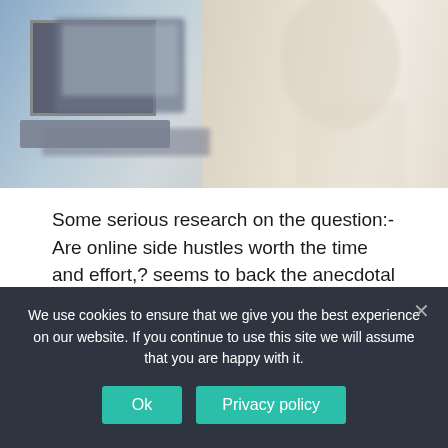[Figure (photo): Blurred photo of a person sitting at a computer desk, showing a monitor and keyboard on the left and a person in white shirt on the right.]
Some serious research on the question:- Are online side hustles worth the time and effort,? seems to back the anecdotal evidence, that they are not worth the effort.
[Continue Reading...]
Affiliate Marketing vs MLM. Which is
We use cookies to ensure that we give you the best experience on our website. If you continue to use this site we will assume that you are happy with it.